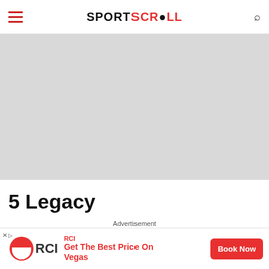SPORTSCROLL
[Figure (photo): Large gray placeholder hero image for an article]
5 Legacy
Advertisement
[Figure (infographic): RCI advertisement banner: Get The Best Price On Vegas — Book Now button]